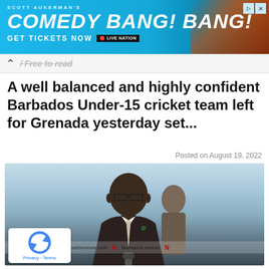[Figure (other): Advertisement banner for Scott Aukerman's Comedy Bang! Bang! show with blue background, show title in large italic text, GET TICKETS NOW with Live Nation badge, and a decorative graphic on the right side.]
A well balanced and highly confident Barbados Under-15 cricket team left for Grenada yesterday set...
Posted on August 19, 2022
[Figure (photo): Photo of an elderly Black man in a dark suit and light-colored tie with a small boutonniere, wearing glasses, standing at a microphone. A watermark reads 'N Barbados Nation N nationnews.com N Barbados Nation N'. A reCAPTCHA Privacy-Terms overlay appears at the bottom left.]